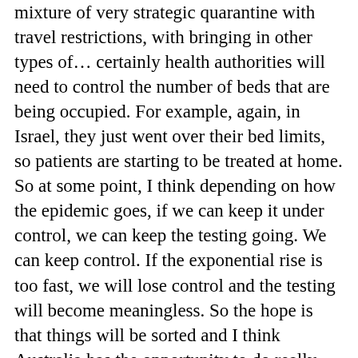mixture of very strategic quarantine with travel restrictions, with bringing in other types of... certainly health authorities will need to control the number of beds that are being occupied. For example, again, in Israel, they just went over their bed limits, so patients are starting to be treated at home. So at some point, I think depending on how the epidemic goes, if we can keep it under control, we can keep the testing going. We can keep control. If the exponential rise is too fast, we will lose control and the testing will become meaningless. So the hope is that things will be sorted and I think Australia has the opportunity to do really well and big decisions have to be made now.
Lisa Sedger: There's already a paper just this week published in The Lancet that profiles survivors versus those who have succumbed from the